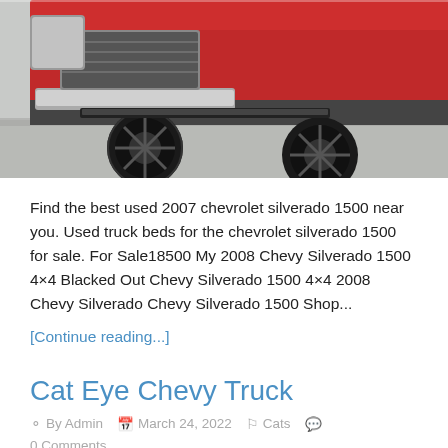[Figure (photo): Partial photo of a red Chevy Silverado truck from the front/side angle, showing the black wheels, tires, lower bumper, and grille. The truck is parked on a light-colored surface.]
Find the best used 2007 chevrolet silverado 1500 near you. Used truck beds for the chevrolet silverado 1500 for sale. For Sale18500 My 2008 Chevy Silverado 1500 4×4 Blacked Out Chevy Silverado 1500 4×4 2008 Chevy Silverado Chevy Silverado 1500 Shop...
[Continue reading...]
Cat Eye Chevy Truck
By Admin   March 24, 2022   Cats   0 Comments